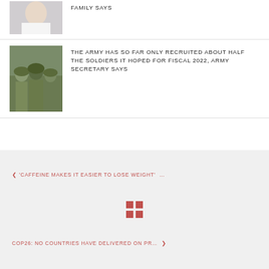[Figure (photo): Partial thumbnail of a woman in white, cropped at top]
FAMILY SAYS
[Figure (photo): Soldiers in camouflage uniforms]
THE ARMY HAS SO FAR ONLY RECRUITED ABOUT HALF THE SOLDIERS IT HOPED FOR FISCAL 2022, ARMY SECRETARY SAYS
< 'CAFFEINE MAKES IT EASIER TO LOSE WEIGHT' ...
[Figure (other): Grid icon (four squares in red)]
COP26: NO COUNTRIES HAVE DELIVERED ON PR... >